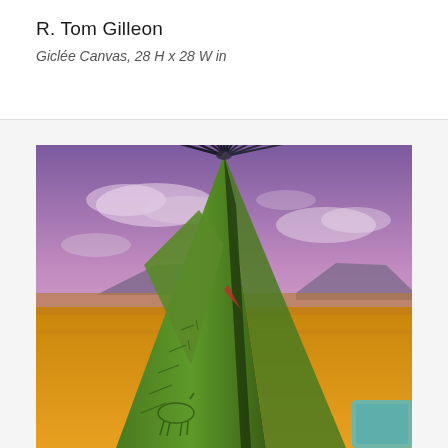R. Tom Gilleon
Giclée Canvas, 28 H x 28 W in
[Figure (photo): Painting of a Native American teepee with green canvas decorated with horse motifs, tall dark poles extending above the top, set against a dramatic purple-pink sky with clouds and flat-topped mesa buttes in the background, golden plains in the middle ground.]